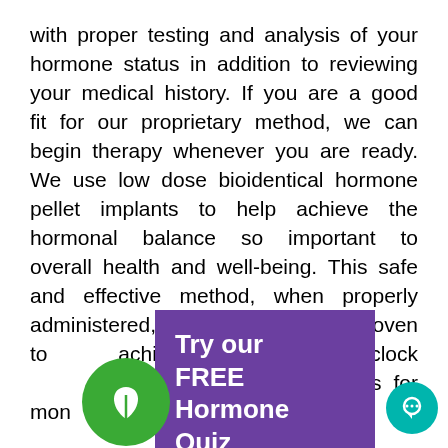with proper testing and analysis of your hormone status in addition to reviewing your medical history. If you are a good fit for our proprietary method, we can begin therapy whenever you are ready. We use low dose bioidentical hormone pellet implants to help achieve the hormonal balance so important to overall health and well-being. This safe and effective method, when properly administered, is the only BHRT proven to achieve around-the-clock hormone levels for months at a time.

Our patients praise the enhanced quality of life experiencing with SottoPelle® BHRT. Weight loss, improved libido and sex drive, better sleep, and greater
[Figure (other): Purple popup overlay with text 'Try our FREE Hormone Quiz']
[Figure (other): Green circular button with white leaf/sprout icon]
[Figure (other): Teal circular chat button in bottom right corner]